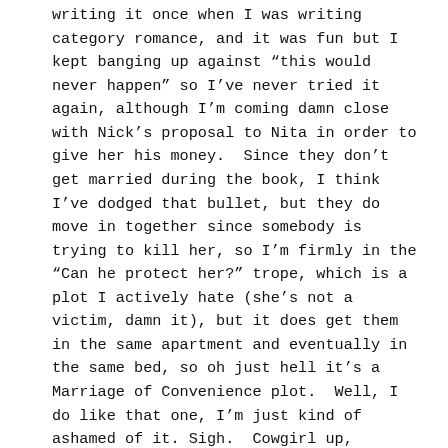writing it once when I was writing category romance, and it was fun but I kept banging up against “this would never happen” so I’ve never tried it again, although I’m coming damn close with Nick’s proposal to Nita in order to give her his money. Since they don’t get married during the book, I think I’ve dodged that bullet, but they do move in together since somebody is trying to kill her, so I’m firmly in the “Can he protect her?” trope, which is a plot I actively hate (she’s not a victim, damn it), but it does get them in the same apartment and eventually in the same bed, so oh just hell it’s a Marriage of Convenience plot. Well, I do like that one, I’m just kind of ashamed of it. Sigh. Cowgirl up, Jenny. Own your guilty pleasures.